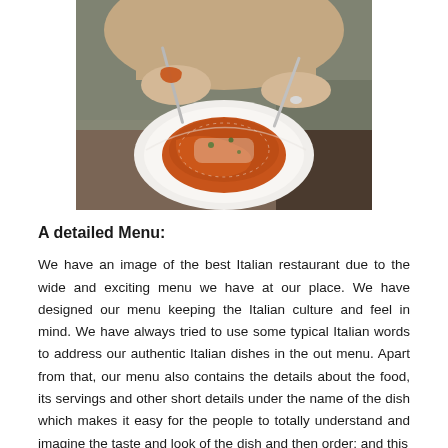[Figure (photo): A woman eating spaghetti pasta with tomato sauce and parmesan cheese from a white plate, using a fork and spoon to twirl the noodles.]
A detailed Menu:
We have an image of the best Italian restaurant due to the wide and exciting menu we have at our place. We have designed our menu keeping the Italian culture and feel in mind. We have always tried to use some typical Italian words to address our authentic Italian dishes in the out menu. Apart from that, our menu also contains the details about the food, its servings and other short details under the name of the dish which makes it easy for the people to totally understand and imagine the taste and look of the dish and then order; and this